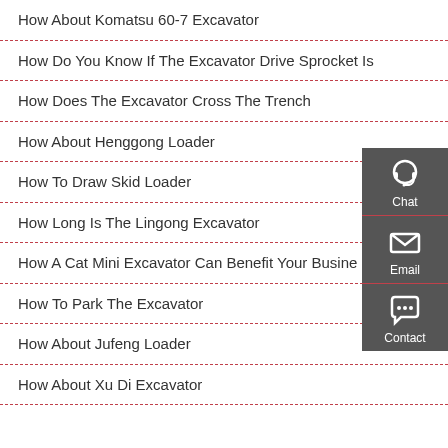How About Komatsu 60-7 Excavator
How Do You Know If The Excavator Drive Sprocket Is
How Does The Excavator Cross The Trench
How About Henggong Loader
How To Draw Skid Loader
How Long Is The Lingong Excavator
How A Cat Mini Excavator Can Benefit Your Business
How To Park The Excavator
How About Jufeng Loader
How About Xu Di Excavator